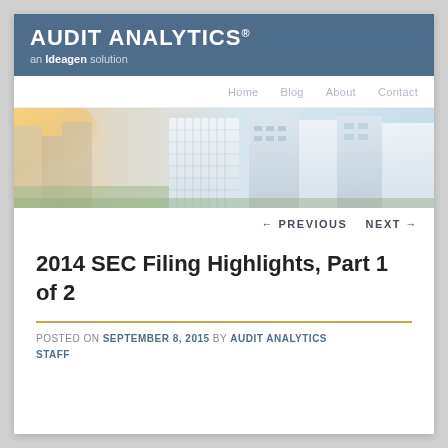AUDIT ANALYTICS® an Ideagen solution
Home  Blog  About  Contact
[Figure (photo): City skyline with modern glass office buildings, warm sunlight on left side, blue-white tones on right]
← PREVIOUS   NEXT →
2014 SEC Filing Highlights, Part 1 of 2
POSTED ON SEPTEMBER 8, 2015 BY AUDIT ANALYTICS STAFF